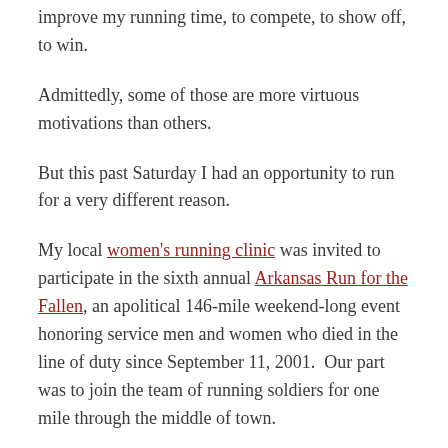improve my running time, to compete, to show off, to win.
Admittedly, some of those are more virtuous motivations than others.
But this past Saturday I had an opportunity to run for a very different reason.
My local women's running clinic was invited to participate in the sixth annual Arkansas Run for the Fallen, an apolitical 146-mile weekend-long event honoring service men and women who died in the line of duty since September 11, 2001. Our part was to join the team of running soldiers for one mile through the middle of town.
In the weeks leading up to the event, I thought about it quite a bit. I read the stories of the two Navy SEALs